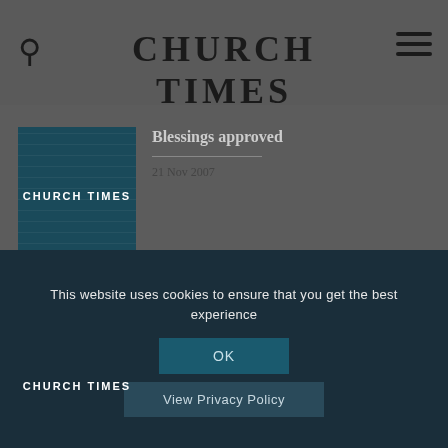CHURCH TIMES
[Figure (logo): Church Times placeholder thumbnail image with teal background]
Blessings approved
21 Nov 2007
[Figure (logo): Church Times placeholder thumbnail image with teal background]
Planned ordinations amount to schism, says diocesan bishop
21 Nov 2007
This website uses cookies to ensure that you get the best experience
OK
View Privacy Policy